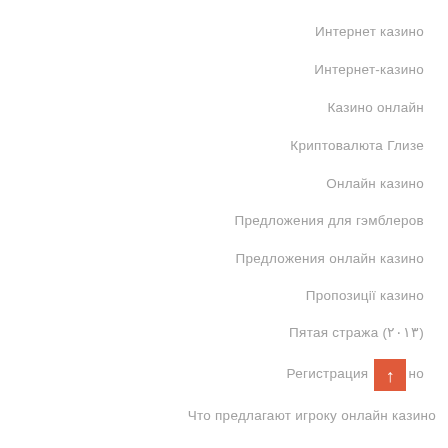Интернет казино
Интернет-казино
Казино онлайн
Криптовалюта Глизе
Онлайн казино
Предложения для гэмблеров
Предложения онлайн казино
Пропозиції казино
Пятая стража (۲۰۱۳)
Регистрация [↑] но
Что предлагают игроку онлайн казино